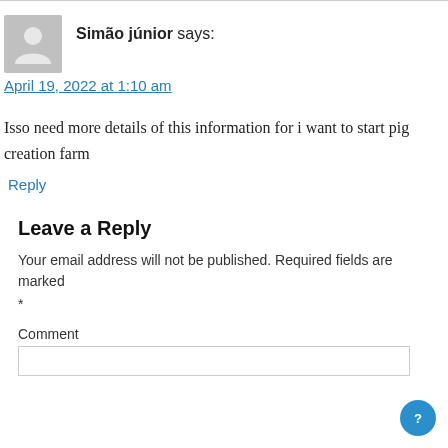Simão júnior says:
April 19, 2022 at 1:10 am
Isso need more details of this information for i want to start pig creation farm
Reply
Leave a Reply
Your email address will not be published. Required fields are marked *
Comment